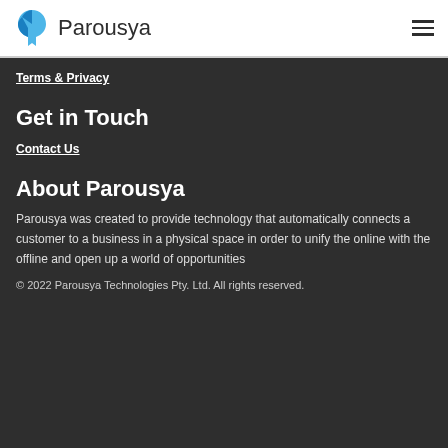Parousya
Terms & Privacy
Get in Touch
Contact Us
About Parousya
Parousya was created to provide technology that automatically connects a customer to a business in a physical space in order to unify the online with the offline and open up a world of opportunities
© 2022 Parousya Technologies Pty. Ltd. All rights reserved.